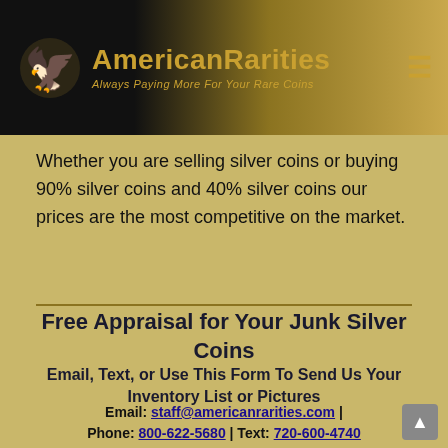[Figure (logo): American Rarities logo with eagle/coin icon and tagline 'Always Paying More For Your Rare Coins' on dark-to-gold gradient header]
Whether you are selling silver coins or buying 90% silver coins and 40% silver coins our prices are the most competitive on the market.
Free Appraisal for Your Junk Silver Coins
Email, Text, or Use This Form To Send Us Your Inventory List or Pictures
Email: staff@americanrarities.com |
Phone: 800-622-5680 | Text: 720-600-4740